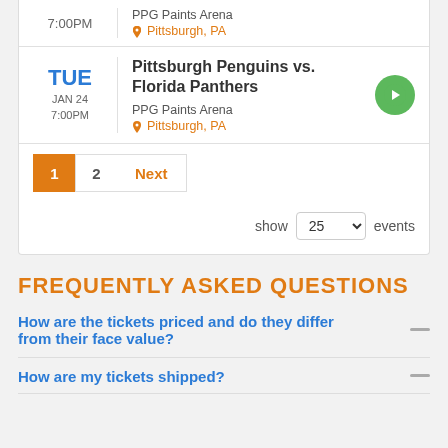7:00PM | PPG Paints Arena | Pittsburgh, PA
TUE JAN 24 7:00PM — Pittsburgh Penguins vs. Florida Panthers — PPG Paints Arena — Pittsburgh, PA
Pagination: 1, 2, Next
show 25 events
FREQUENTLY ASKED QUESTIONS
How are the tickets priced and do they differ from their face value?
How are my tickets shipped?